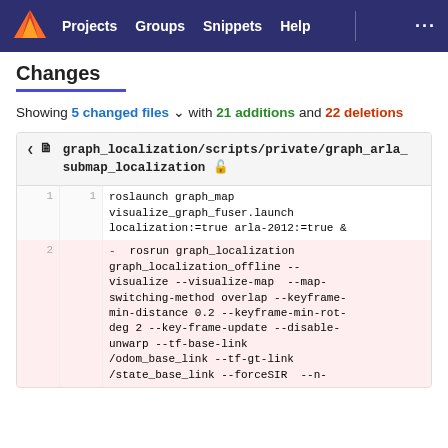Projects  Groups  Snippets  Help  ...
Changes
Showing 5 changed files with 21 additions and 22 deletions
| old ln | new ln | code |
| --- | --- | --- |
| 1 | 1 | roslaunch graph_map visualize_graph_fuser.launch localization:=true arla-2012:=true & |
| 2 |  | - rosrun graph_localization graph_localization_offline --visualize --visualize-map  --map-switching-method overlap --keyframe-min-distance 0.2 --keyframe-min-rot-deg 2 --key-frame-update --disable-unwarp --tf-base-link /odom_base_link --tf-gt-link /state_base_link --forceSIR  --n- |